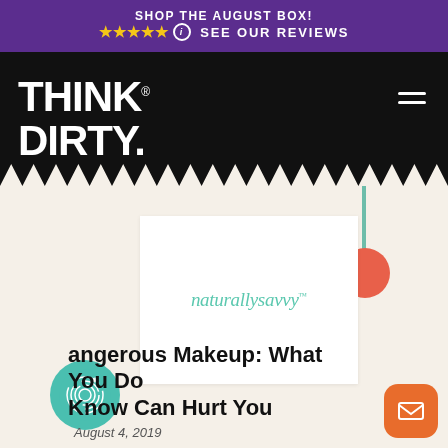SHOP THE AUGUST BOX! ★★★★★ ⓘ SEE OUR REVIEWS
THINK DIRTY.
[Figure (logo): naturallysavvy logo in teal italic text on a white card]
Dangerous Makeup: What You Don't Know Can Hurt You
August 4, 2019